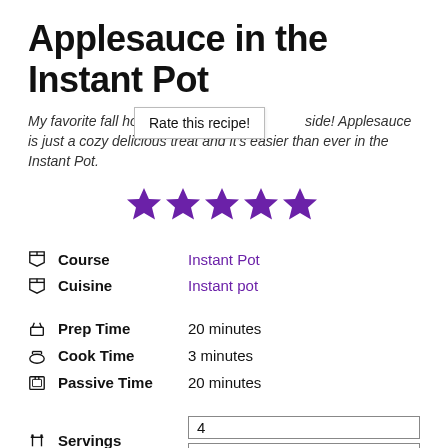Applesauce in the Instant Pot
My favorite fall home side! Applesauce is just a cozy delicious treat and it's easier than ever in the Instant Pot.
Rate this recipe!
[Figure (other): Five purple star rating icons]
| Course | Instant Pot |
| Cuisine | Instant pot |
| Prep Time | 20 minutes |
| Cook Time | 3 minutes |
| Passive Time | 20 minutes |
| Servings | 4 / US Imperial |